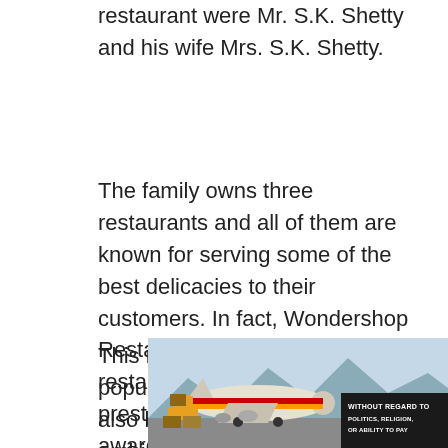restaurant were Mr. S.K. Shetty and his wife Mrs. S.K. Shetty.
The family owns three restaurants and all of them are known for serving some of the best delicacies to their customers. In fact, Wondershop Restaurant is the first Indian restaurant that has won the prestigious Best of the Best award from the United Kingdom.
This restaurant is not only popular for the tasty foods but also because of the wonderful ambience
[Figure (photo): Advertisement banner showing an airplane being loaded with cargo, with a dark badge reading 'WITHOUT REGARD TO POLITICS, RELIGION, OR ABILITY TO PAY']